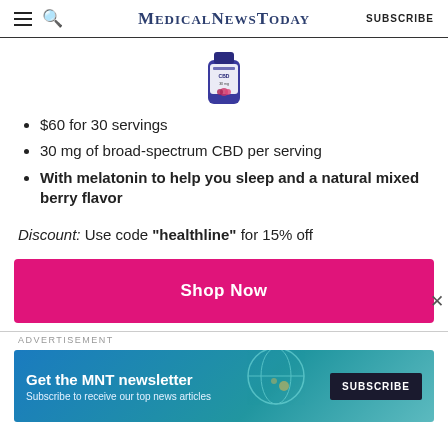MedicalNewsToday SUBSCRIBE
[Figure (photo): Product bottle of CBD gummies with mixed berry flavor, purple bottle]
$60 for 30 servings
30 mg of broad-spectrum CBD per serving
With melatonin to help you sleep and a natural mixed berry flavor
Discount: Use code "healthline" for 15% off
[Figure (other): Shop Now pink/magenta button]
ADVERTISEMENT
[Figure (screenshot): MNT newsletter subscription banner: Get the MNT newsletter - Subscribe to receive our top news articles - SUBSCRIBE button]